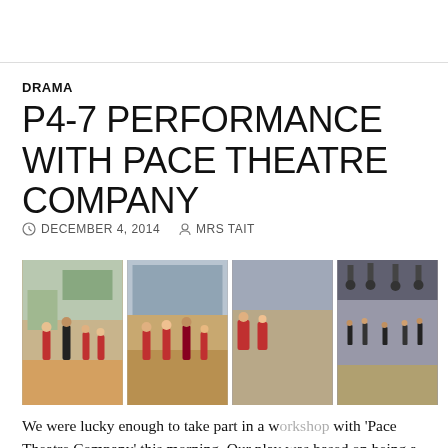DRAMA
P4-7 PERFORMANCE WITH PACE THEATRE COMPANY
DECEMBER 4, 2014   MRS TAIT
[Figure (photo): Four side-by-side photos of students performing a drama workshop in a school gymnasium hall with Pace Theatre Company]
Glow Blogs uses cookies to enhance your experience on our service. By using this service or closing this message you consent to our use of those cookies. Please read our Cookie Policy.
We were lucky enough to take part in a workshop with 'Pace Theatre Company' this morning. Our play was based on being a good person and taught us how to be individual and